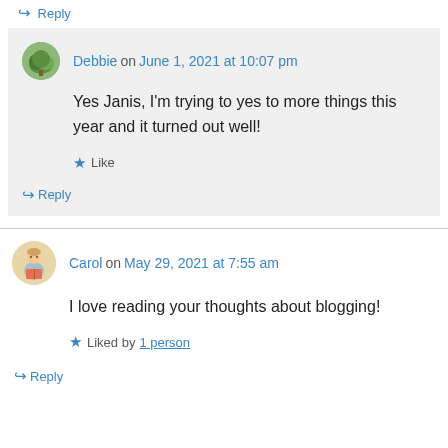↪ Reply
Debbie on June 1, 2021 at 10:07 pm
Yes Janis, I'm trying to yes to more things this year and it turned out well!
★ Like
↪ Reply
Carol on May 29, 2021 at 7:55 am
I love reading your thoughts about blogging!
★ Liked by 1 person
↪ Reply